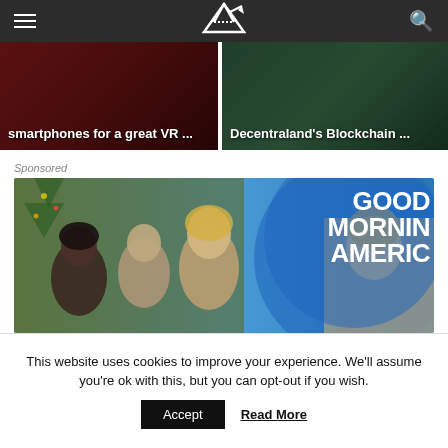VR website navigation header with hamburger menu, VR logo, and search icon
[Figure (photo): Left thumbnail card with dark red background and text overlay: 'smartphones for a great VR ...']
[Figure (photo): Right thumbnail card with dark green background and text overlay: 'Decentraland’s Blockchain ...']
Sponsored
[Figure (photo): Sponsored image: Good Morning America set with host and guests, Christmas tree in background, blue GMA circle logo on right side showing 'GOOD MORNING AMERIC' text]
This website uses cookies to improve your experience. We'll assume you're ok with this, but you can opt-out if you wish.